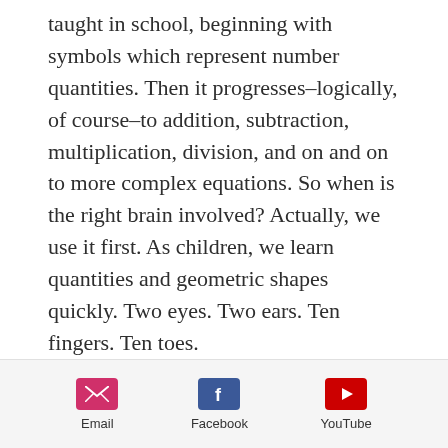taught in school, beginning with symbols which represent number quantities. Then it progresses–logically, of course–to addition, subtraction, multiplication, division, and on and on to more complex equations. So when is the right brain involved? Actually, we use it first. As children, we learn quantities and geometric shapes quickly. Two eyes. Two ears. Ten fingers. Ten toes.

These number quantities are associated with picture images and the right brain just soaks it up.
Email | Facebook | YouTube